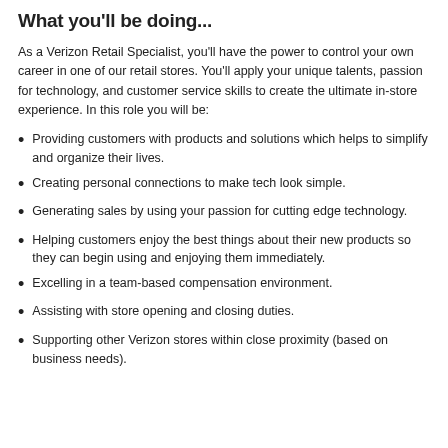What you'll be doing...
As a Verizon Retail Specialist, you'll have the power to control your own career in one of our retail stores. You'll apply your unique talents, passion for technology, and customer service skills to create the ultimate in-store experience. In this role you will be:
Providing customers with products and solutions which helps to simplify and organize their lives.
Creating personal connections to make tech look simple.
Generating sales by using your passion for cutting edge technology.
Helping customers enjoy the best things about their new products so they can begin using and enjoying them immediately.
Excelling in a team-based compensation environment.
Assisting with store opening and closing duties.
Supporting other Verizon stores within close proximity (based on business needs).